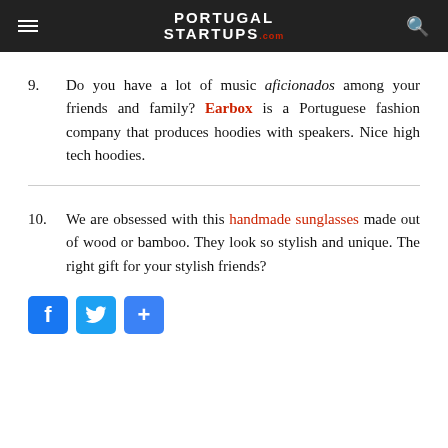PORTUGAL STARTUPS .com
9. Do you have a lot of music aficionados among your friends and family? Earbox is a Portuguese fashion company that produces hoodies with speakers. Nice high tech hoodies.
10. We are obsessed with this handmade sunglasses made out of wood or bamboo. They look so stylish and unique. The right gift for your stylish friends?